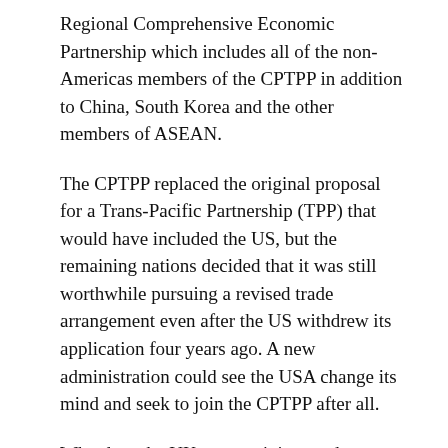Regional Comprehensive Economic Partnership which includes all of the non-Americas members of the CPTPP in addition to China, South Korea and the other members of ASEAN.
The CPTPP replaced the original proposal for a Trans-Pacific Partnership (TPP) that would have included the US, but the remaining nations decided that it was still worthwhile pursuing a revised trade arrangement even after the US withdrew its application four years ago. A new administration could see the USA change its mind and seek to join the CPTPP after all.
Why does the UK want to join a trade pact on the other side of the world? The immediate trade benefits are likely to be relatively modest given the distances involved and which are likely to be secured through bilateral trade agreements already